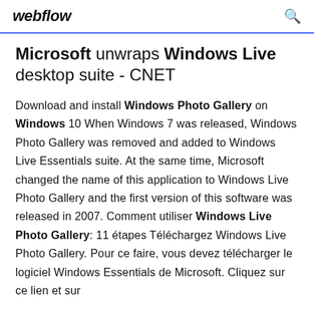webflow
Microsoft unwraps Windows Live desktop suite - CNET
Download and install Windows Photo Gallery on Windows 10 When Windows 7 was released, Windows Photo Gallery was removed and added to Windows Live Essentials suite. At the same time, Microsoft changed the name of this application to Windows Live Photo Gallery and the first version of this software was released in 2007. Comment utiliser Windows Live Photo Gallery: 11 étapes Téléchargez Windows Live Photo Gallery. Pour ce faire, vous devez télécharger le logiciel Windows Essentials de Microsoft. Cliquez sur ce lien et sur